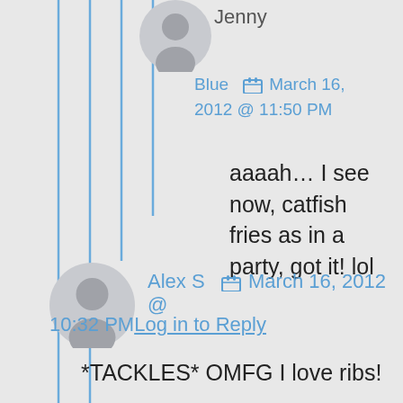Jenny
Blue  March 16, 2012 @ 11:50 PM
aaaah… I see now, catfish fries as in a party, got it! lol
Alex S  March 16, 2012 @
10:32 PMLog in to Reply
*TACKLES* OMFG I love ribs!